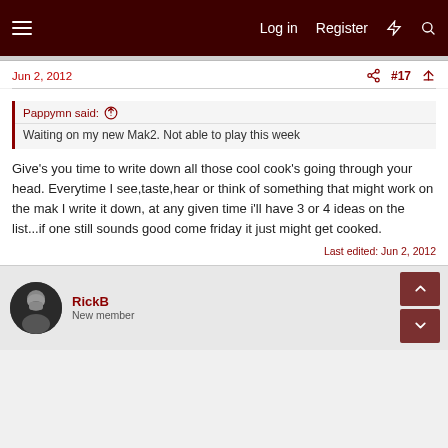Log in  Register
Jun 2, 2012   #17
Pappymn said:  Waiting on my new Mak2. Not able to play this week
Give's you time to write down all those cool cook's going through your head. Everytime I see,taste,hear or think of something that might work on the mak I write it down, at any given time i'll have 3 or 4 ideas on the list...if one still sounds good come friday it just might get cooked.
Last edited: Jun 2, 2012
RickB
New member